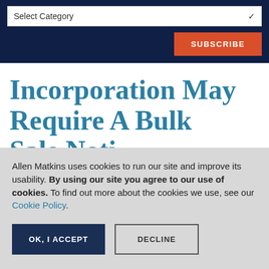Select Category
SUBSCRIBE
Incorporation May Require A Bulk Sale Noti...
Allen Matkins uses cookies to run our site and improve its usability. By using our site you agree to our use of cookies. To find out more about the cookies we use, see our Cookie Policy.
OK, I ACCEPT
DECLINE